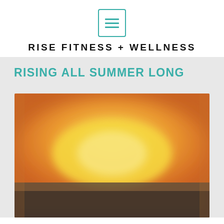[Figure (logo): Hamburger menu icon: a rounded square border in teal/green color containing three horizontal lines]
RISE FITNESS + WELLNESS
RISING ALL SUMMER LONG
[Figure (photo): A blurred/defocused photograph showing a warm sunset or sunrise with orange, yellow, and golden tones in the sky and dark silhouetted landscape at the bottom]